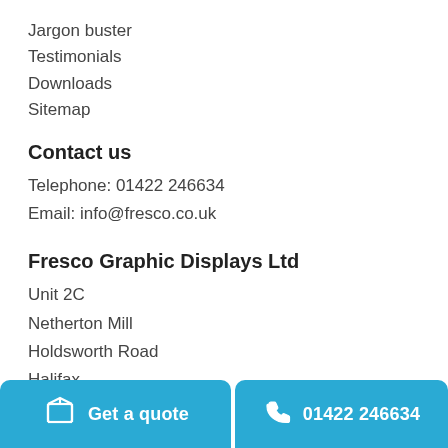Jargon buster
Testimonials
Downloads
Sitemap
Contact us
Telephone: 01422 246634
Email: info@fresco.co.uk
Fresco Graphic Displays Ltd
Unit 2C
Netherton Mill
Holdsworth Road
Halifax
United Kingdom
HX3 6FD
Get a quote   01422 246634